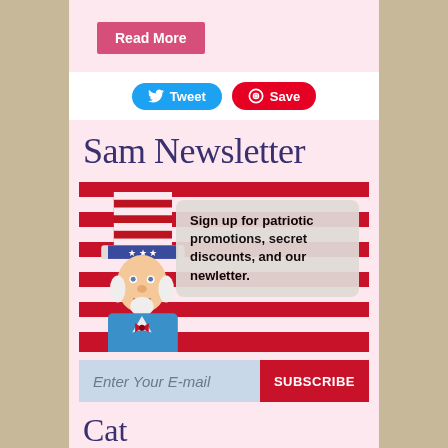Read More
Tweet
Save
Sam Newsletter
[Figure (illustration): Uncle Sam character with red and white striped hat, blue suit, and bow tie, standing in front of an American flag striped background, with a speech bubble reading: Sign up for patriotic promotions, secret discounts, and our newletter.]
Enter Your E-mail
SUBSCRIBE
Categories